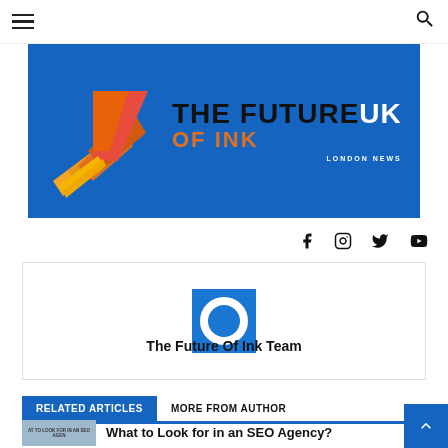Navigation bar with hamburger menu and search icon
[Figure (logo): The Future Of Ink UK - London News logo on blue background with geometric orange/red/yellow layered pages icon]
[Figure (infographic): Social media icons row: Facebook, Instagram, Twitter, YouTube]
[Figure (photo): Author avatar - circular profile image on blue square background]
The Future Of Ink Team
RELATED ARTICLES
MORE FROM AUTHOR
[Figure (photo): Thumbnail image for SEO agency article with text overlay: AT TO LOOK FOR IN AN SEO AGEN]
What to Look for in an SEO Agency?